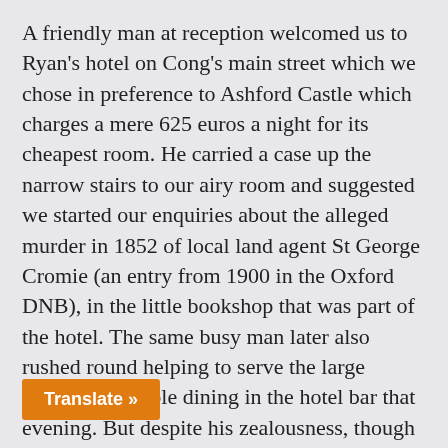A friendly man at reception welcomed us to Ryan's hotel on Cong's main street which we chose in preference to Ashford Castle which charges a mere 625 euros a night for its cheapest room. He carried a case up the narrow stairs to our airy room and suggested we started our enquiries about the alleged murder in 1852 of local land agent St George Cromie (an entry from 1900 in the Oxford DNB), in the little bookshop that was part of the hotel. The same busy man later also rushed round helping to serve the large number of people dining in the hotel bar that evening. But despite his zealousness, though obviously not the chef's, something John ate there (possibly unwashed salad) upset his stomach, so our continued search next day, on behalf of our friend Sue, into Cromie's mysterious, undocumented death, was punctuated by frequent dashes to a loo or bush. Alas, our quest in the abandoned graveyards of Cromie's father's parishes, at the Ballinrobe family history society and through the newspaper records in the local history library was fruitless, and the